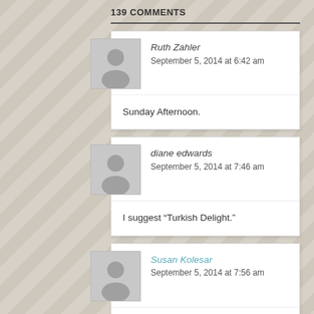139 COMMENTS
Ruth Zahler
September 5, 2014 at 6:42 am
Sunday Afternoon.
diane edwards
September 5, 2014 at 7:46 am
I suggest “Turkish Delight.”
Susan Kolesar
September 5, 2014 at 7:56 am
American Renaissance